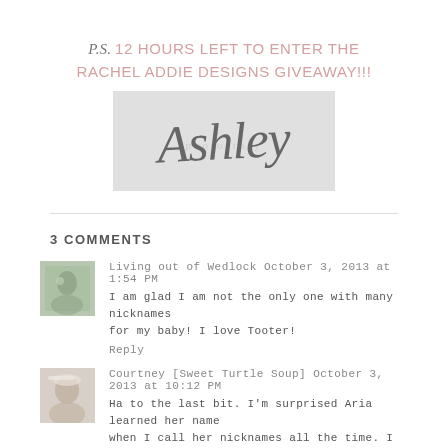P.S. 12 HOURS LEFT TO ENTER THE RACHEL ADDIE DESIGNS GIVEAWAY!!!
[Figure (illustration): Handwritten cursive signature reading 'Ashley' on a light gray background]
3 COMMENTS
Living out of Wedlock  October 3, 2013 at 1:54 PM
I am glad I am not the only one with many nicknames for my baby! I love Tooter!
Reply
Courtney [Sweet Turtle Soup]  October 3, 2013 at 10:12 PM
Ha to the last bit. I'm surprised Aria learned her name when I call her nicknames all the time. I had to train